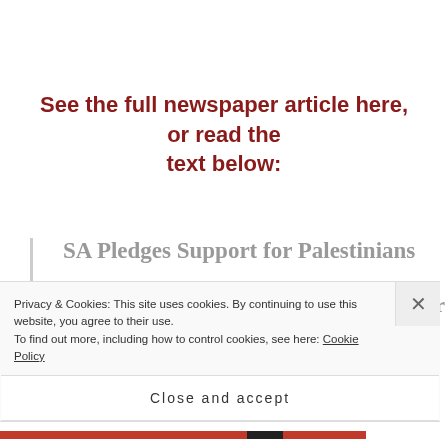See the full newspaper article here, or read the text below:
SA Pledges Support for Palestinians
Mel Frykberg | The New Age Newspaper
02 February 2012
Privacy & Cookies: This site uses cookies. By continuing to use this website, you agree to their use. To find out more, including how to control cookies, see here: Cookie Policy
Close and accept